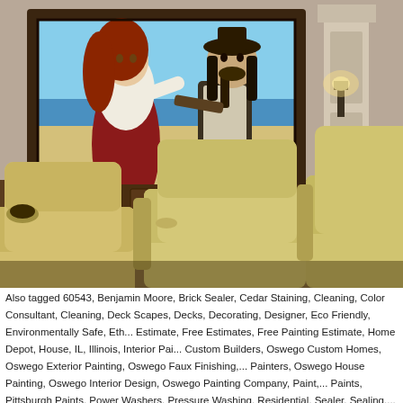[Figure (photo): Home theater room with large projection screen showing Pirates of the Caribbean movie scene, tan/beige leather recliner seats in foreground, dark wood cabinetry around the screen, wall sconce lighting, and a decorative column on the right side.]
Also tagged 60543, Benjamin Moore, Brick Sealer, Cedar Staining, Cleaning, Color Consultant, Cleaning, Deck Scapes, Decks, Decorating, Designer, Eco Friendly, Environmentally Safe, Eth... Estimate, Free Estimates, Free Painting Estimate, Home Depot, House, IL, Illinois, Interior Pai... Custom Builders, Oswego Custom Homes, Oswego Exterior Painting, Oswego Faux Finishing,... Painters, Oswego House Painting, Oswego Interior Design, Oswego Painting Company, Paint,... Paints, Pittsburgh Paints, Power Washers, Pressure Washing, Residential, Sealer, Sealing,...